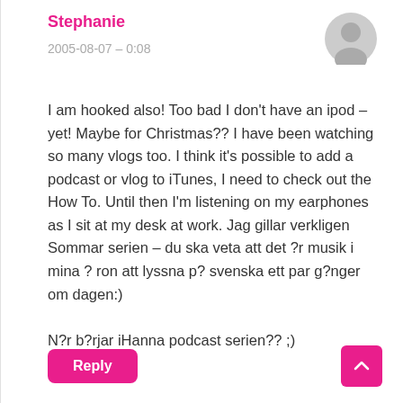Stephanie
2005-08-07 – 0:08
I am hooked also! Too bad I don't have an ipod – yet! Maybe for Christmas?? I have been watching so many vlogs too. I think it's possible to add a podcast or vlog to iTunes, I need to check out the How To. Until then I'm listening on my earphones as I sit at my desk at work. Jag gillar verkligen Sommar serien – du ska veta att det ?r musik i mina ? ron att lyssna p? svenska ett par g?nger om dagen:)

N?r b?rjar iHanna podcast serien?? ;)